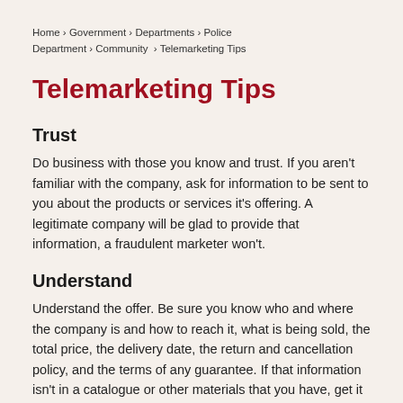Home › Government › Departments › Police Department › Community  › Telemarketing Tips
Telemarketing Tips
Trust
Do business with those you know and trust. If you aren't familiar with the company, ask for information to be sent to you about the products or services it's offering. A legitimate company will be glad to provide that information, a fraudulent marketer won't.
Understand
Understand the offer. Be sure you know who and where the company is and how to reach it, what is being sold, the total price, the delivery date, the return and cancellation policy, and the terms of any guarantee. If that information isn't in a catalogue or other materials that you have, get it in writing